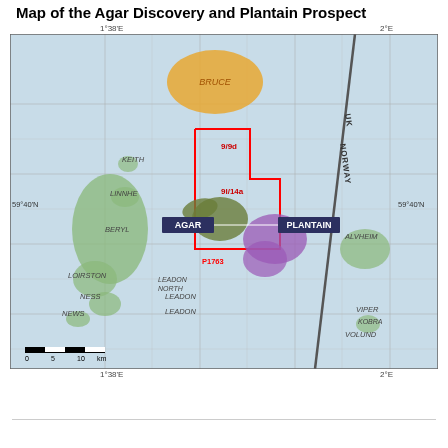Map of the Agar Discovery and Plantain Prospect
[Figure (map): Map showing the Agar Discovery and Plantain Prospect in the North Sea, including license block P1763 covering blocks 9/9d and 9l/14a, with surrounding named fields (Bruce, Keith, Linnhe, Beryl, Loirston, Ness, News, Alvheim, Viper, Kobra, Volund, Leadon, Leadon North) and the UK-Norway median line. Green areas show hydrocarbon accumulations, orange shows Bruce field, purple shows Plantain prospect, olive/dark green shows Agar discovery. Coordinate labels: 1°38'E, 2°E on top/bottom; 59°40'N on sides.]